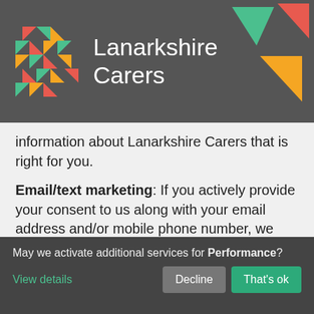[Figure (logo): Lanarkshire Carers logo with colorful triangles and organization name in white text on dark grey background, with hamburger menu icon on right]
information about Lanarkshire Carers that is right for you.
Email/text marketing: If you actively provide your consent to us along with your email address and/or mobile phone number, we may contact you for marketing purposes by email or text message. By subscribing to Lanarkshire Carers emails or opting in to email communication from
May we activate additional services for Performance?
View details
Decline
That's ok